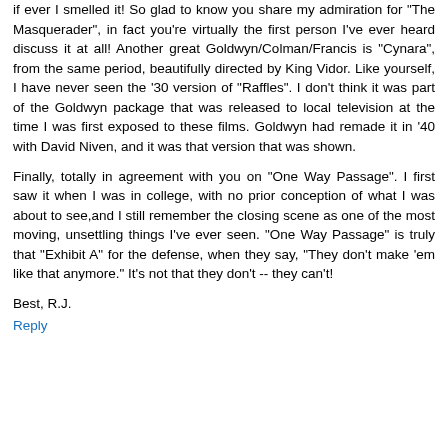if ever I smelled it! So glad to know you share my admiration for "The Masquerader", in fact you're virtually the first person I've ever heard discuss it at all! Another great Goldwyn/Colman/Francis is "Cynara", from the same period, beautifully directed by King Vidor. Like yourself, I have never seen the '30 version of "Raffles". I don't think it was part of the Goldwyn package that was released to local television at the time I was first exposed to these films. Goldwyn had remade it in '40 with David Niven, and it was that version that was shown.
Finally, totally in agreement with you on "One Way Passage". I first saw it when I was in college, with no prior conception of what I was about to see,and I still remember the closing scene as one of the most moving, unsettling things I've ever seen. "One Way Passage" is truly that "Exhibit A" for the defense, when they say, "They don't make 'em like that anymore." It's not that they don't -- they can't!
Best, R.J.
Reply